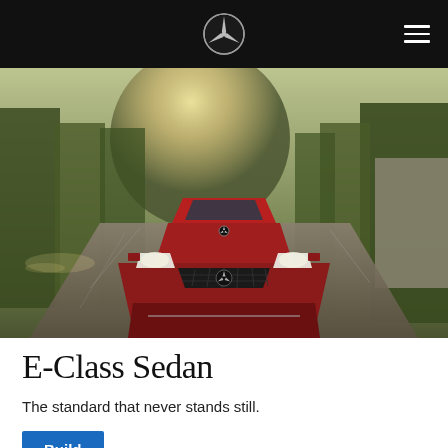Mercedes-Benz navigation header with logo and hamburger menu
[Figure (photo): Front view of a red Mercedes-Benz E-Class Sedan driving on a city street with trees and buildings in the background, motion blur on the road]
E-Class Sedan
The standard that never stands still.
Build